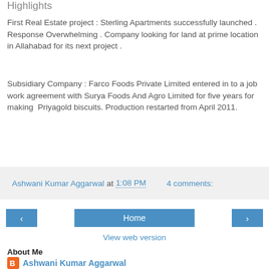Highlights
First Real Estate project : Sterling Apartments successfully launched . Response Overwhelming . Company looking for land at prime location in Allahabad for its next project .
Subsidiary Company : Farco Foods Private Limited entered in to a job work agreement with Surya Foods And Agro Limited for five years for making Priyagold biscuits. Production restarted from April 2011.
Ashwani Kumar Aggarwal at 1:08 PM    4 comments:
View web version
About Me
Ashwani Kumar Aggarwal
Ex-St Stephen's College, Delhi; Ex-PPS, Nabha; Contact me 97795-